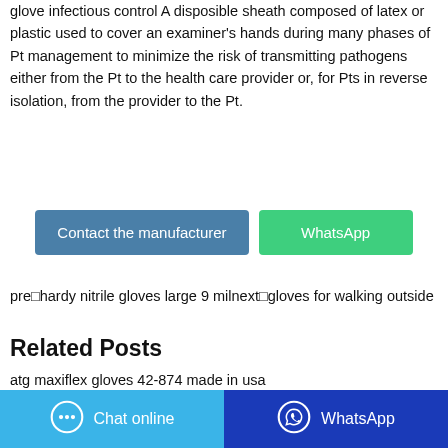glove infectious control A disposible sheath composed of latex or plastic used to cover an examiner's hands during many phases of Pt management to minimize the risk of transmitting pathogens either from the Pt to the health care provider or, for Pts in reverse isolation, from the provider to the Pt.
[Figure (other): Two buttons: 'Contact the manufacturer' (blue) and 'WhatsApp' (green)]
pre□hardy nitrile gloves large 9 milnext□gloves for walking outside
Related Posts
atg maxiflex gloves 42-874 made in usa
half glove for drawing
nitrile gloves white powder free download mediafire
[Figure (other): Bottom bar with two buttons: 'Chat online' (light blue with chat icon) and 'WhatsApp' (dark blue with WhatsApp icon)]